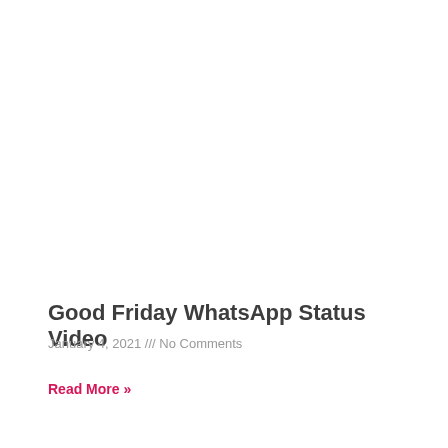Good Friday WhatsApp Status Video
January 4, 2021 /// No Comments
Read More »